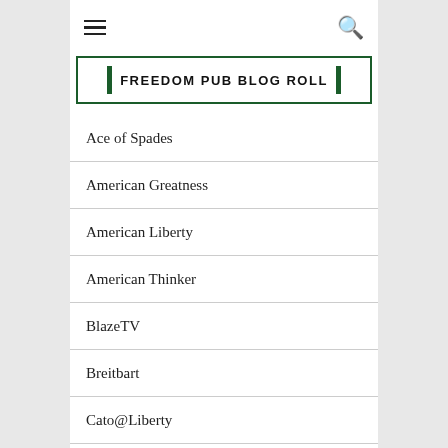FREEDOM PUB BLOG ROLL
Ace of Spades
American Greatness
American Liberty
American Thinker
BlazeTV
Breitbart
Cato@Liberty